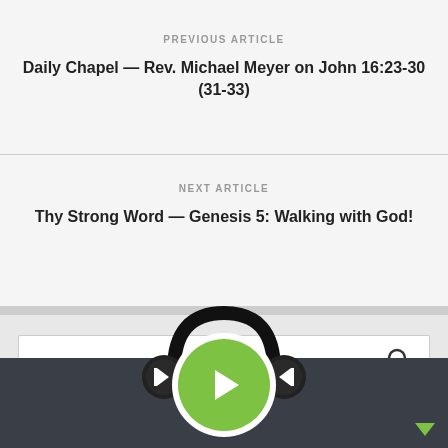PREVIOUS ARTICLE
Daily Chapel — Rev. Michael Meyer on John 16:23-30 (31-33)
NEXT ARTICLE
Thy Strong Word — Genesis 5: Walking with God!
SEARCH
LATEST POSTS
[Figure (screenshot): Audio player bar with headphones icon, play button (green circle), skip-back and skip-forward controls, and volume slider on dark background]